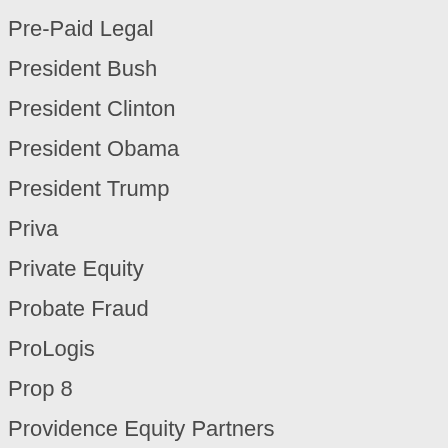Pre-Paid Legal
President Bush
President Clinton
President Obama
President Trump
Priva
Private Equity
Probate Fraud
ProLogis
Prop 8
Providence Equity Partners
Prudential Life Insurance
Psychological Warfare Analyst
Public Agencies
Public Broadcasing System
Public Companies